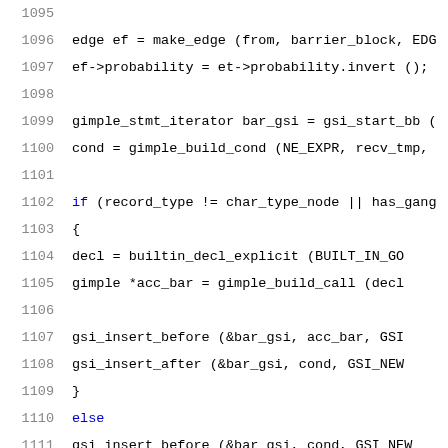1095
1096  edge ef = make_edge (from, barrier_block, EDG
1097  ef->probability = et->probability.invert ();
1098
1099  gimple_stmt_iterator bar_gsi = gsi_start_bb (
1100  cond = gimple_build_cond (NE_EXPR, recv_tmp,
1101
1102  if (record_type != char_type_node || has_gang
1103    {
1104      decl = builtin_decl_explicit (BUILT_IN_GO
1105      gimple *acc_bar = gimple_build_call (decl
1106
1107      gsi_insert_before (&bar_gsi, acc_bar, GSI
1108      gsi_insert_after (&bar_gsi, cond, GSI_NEW
1109    }
1110  else
1111    gsi_insert_before (&bar_gsi, cond, GSI_NEW_
1112
1113  edge et2 = split_block (barrier_block, cond);
1114  et2->flags &= ~EDGE_FALLTHRU;
1115  et2->flags |= EDGE_TRUE_VALUE;
1116  et2->probability = profile_probability::unlik